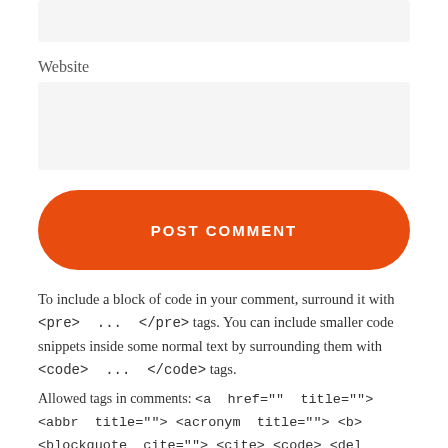[Figure (other): Gray input field box at top of page]
Website
[Figure (other): Gray website input field box]
[Figure (other): Orange rounded POST COMMENT button]
To include a block of code in your comment, surround it with <pre> ... </pre> tags. You can include smaller code snippets inside some normal text by surrounding them with <code> ... </code> tags.
Allowed tags in comments: <a href="" title=""> <abbr title=""> <acronym title=""> <b> <blockquote cite=""> <cite> <code> <del